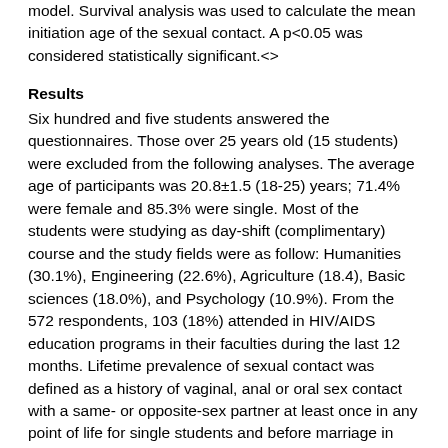model. Survival analysis was used to calculate the mean initiation age of the sexual contact. A p<0.05 was considered statistically significant.<>
Results
Six hundred and five students answered the questionnaires. Those over 25 years old (15 students) were excluded from the following analyses. The average age of participants was 20.8±1.5 (18-25) years; 71.4% were female and 85.3% were single. Most of the students were studying as day-shift (complimentary) course and the study fields were as follow: Humanities (30.1%), Engineering (22.6%), Agriculture (18.4), Basic sciences (18.0%), and Psychology (10.9%). From the 572 respondents, 103 (18%) attended in HIV/AIDS education programs in their faculties during the last 12 months. Lifetime prevalence of sexual contact was defined as a history of vaginal, anal or oral sex contact with a same- or opposite-sex partner at least once in any point of life for single students and before marriage in case of married individuals. The lifetime prevalence was 15.1% (84/557), and 35.3% (24/68) of single students with a history of sexual activity reported to have sex in the last three months. Total current prevalence of sexual relation- having any type of sex during 3 months preceding the study among single students- was 5.2% (24/466).